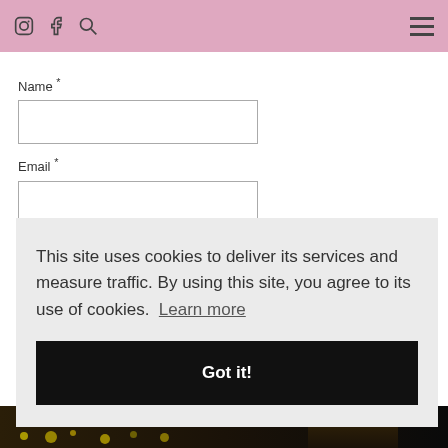Instagram Facebook Search Menu
Name *
Email *
Website
This site uses cookies to deliver its services and measure traffic. By using this site, you agree to its use of cookies. Learn more
Got it!
[Figure (photo): Bottom strip showing a nighttime scene with bokeh lights and a person on the right side]